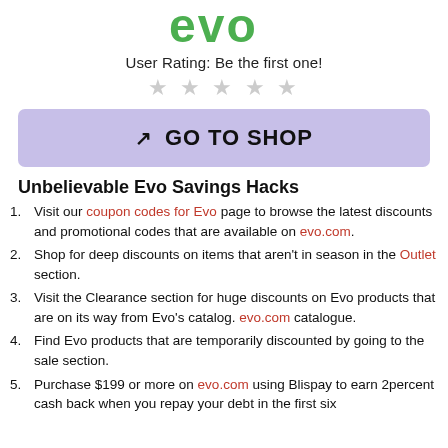[Figure (logo): Evo logo in green]
User Rating: Be the first one!
★ ★ ★ ★ ★ (empty stars)
GO TO SHOP
Unbelievable Evo Savings Hacks
Visit our coupon codes for Evo page to browse the latest discounts and promotional codes that are available on evo.com.
Shop for deep discounts on items that aren't in season in the Outlet section.
Visit the Clearance section for huge discounts on Evo products that are on its way from Evo's catalog. evo.com catalogue.
Find Evo products that are temporarily discounted by going to the sale section.
Purchase $199 or more on evo.com using Blispay to earn 2percent cash back when you repay your debt in the first six